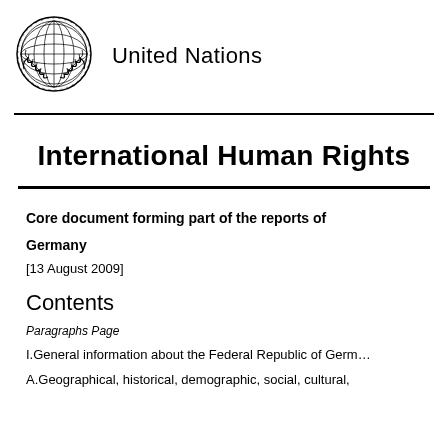United Nations
International Human Rights
Core document forming part of the reports of
Germany
[13 August 2009]
Contents
Paragraphs Page
I.General information about the Federal Republic of Germany
A.Geographical, historical, demographic, social, cultural,